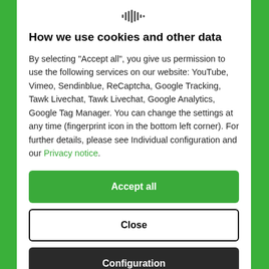[Figure (logo): Fingerprint/audio waveform icon at top center of modal dialog]
How we use cookies and other data
By selecting "Accept all", you give us permission to use the following services on our website: YouTube, Vimeo, Sendinblue, ReCaptcha, Google Tracking, Tawk Livechat, Tawk Livechat, Google Analytics, Google Tag Manager. You can change the settings at any time (fingerprint icon in the bottom left corner). For further details, please see Individual configuration and our Privacy notice.
Accept all
Close
Configuration
[Figure (photo): Partial product image visible at bottom, showing what appears to be an egg product packaging]